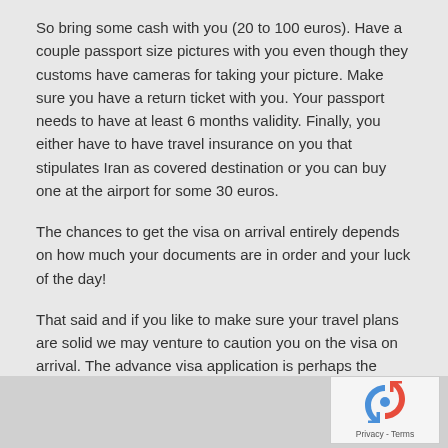So bring some cash with you (20 to 100 euros). Have a couple passport size pictures with you even though they customs have cameras for taking your picture. Make sure you have a return ticket with you. Your passport needs to have at least 6 months validity. Finally, you either have to have travel insurance on you that stipulates Iran as covered destination or you can buy one at the airport for some 30 euros.
The chances to get the visa on arrival entirely depends on how much your documents are in order and your luck of the day!
That said and if you like to make sure your travel plans are solid we may venture to caution you on the visa on arrival. The advance visa application is perhaps the surest way to have hassle free travel to Iran. The down side is that you have to apply ahead of time and you have to pay an extra 40 $ for the processing fee. The upside is that you avoid surprises and can plan ahead of time for your trip, booking your tickets and the rest.
[Figure (logo): reCAPTCHA logo with Privacy and Terms text]